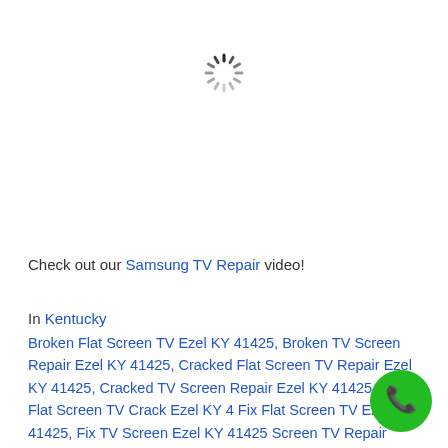[Figure (other): Loading spinner icon (circular dashed spinner in gray/dark)]
Check out our Samsung TV Repair video!
In Kentucky
Broken Flat Screen TV Ezel KY 41425, Broken TV Screen Repair Ezel KY 41425, Cracked Flat Screen TV Repair Ezel KY 41425, Cracked TV Screen Repair Ezel KY 41425, Fix Flat Screen TV Crack Ezel KY 4 Fix Flat Screen TV Ezel KY 41425, Fix TV Screen Ezel KY 41425 Screen TV Repair Cracked Screen Ezel KY 41425, Flat Screen TV
[Figure (other): Green circular phone/call button icon in bottom right corner]